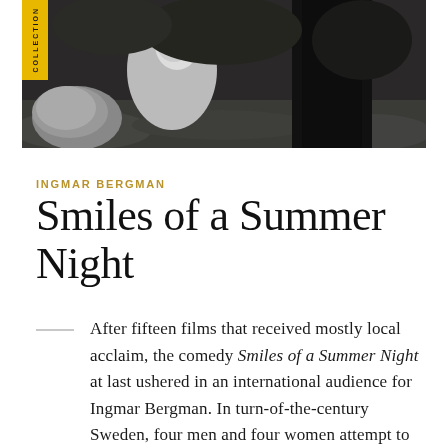[Figure (photo): Black and white photograph of two figures outdoors, one on the left appearing to crouch near a large rock, the other standing on the right in dark clothing, with grass and foliage in the background. A yellow 'COLLECTION' label tab appears on the left edge.]
INGMAR BERGMAN
Smiles of a Summer Night
After fifteen films that received mostly local acclaim, the comedy Smiles of a Summer Night at last ushered in an international audience for Ingmar Bergman. In turn-of-the-century Sweden, four men and four women attempt to navigate the laws of attraction. During a weekend in the country, the